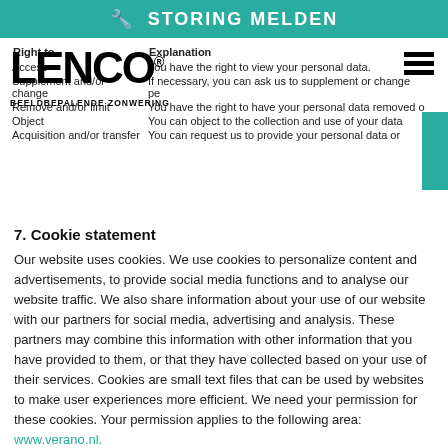🔧 STORING MELDEN
| Right to | Explanation |
| --- | --- |
| Access | You have the right to view your personal data. |
| Supplement and/or change | If necessary, you can ask us to supplement or change personal data. |
| Remove and/or limit | You have the right to have your personal data removed or limited. |
| Object | You can object to the collection and use of your data. |
| Acquisition and/or transfer | You can request us to provide your personal data or transfer it. |
7. Cookie statement
Our website uses cookies. We use cookies to personalize content and advertisements, to provide social media functions and to analyse our website traffic. We also share information about your use of our website with our partners for social media, advertising and analysis. These partners may combine this information with other information that you have provided to them, or that they have collected based on your use of their services. Cookies are small text files that can be used by websites to make user experiences more efficient. We need your permission for these cookies. Your permission applies to the following area: www.verano.nl.